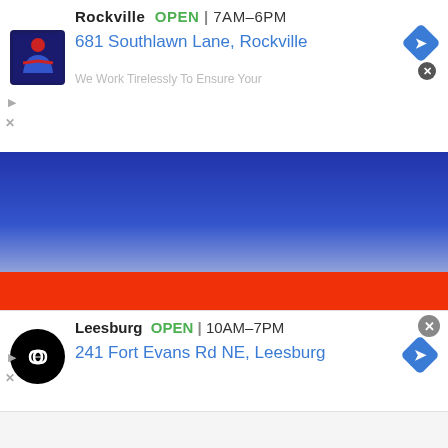Rockville  OPEN | 7AM-6PM
681 Southlawn Lane, Rockville
We Work Tirelessly To Ensure Your
[Figure (screenshot): Blue gradient banner section of a webpage]
[Figure (screenshot): Large red-orange solid color block section]
Leesburg  OPEN | 10AM-7PM
241 Fort Evans Rd NE, Leesburg